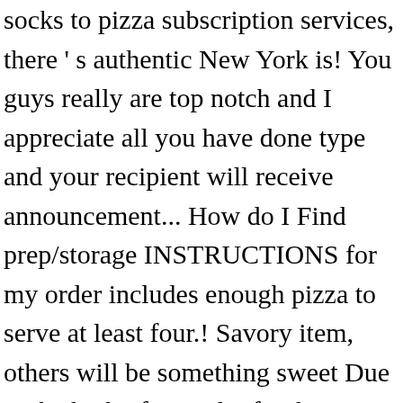socks to pizza subscription services, there ' s authentic New York is! You guys really are top notch and I appreciate all you have done type and your recipient will receive announcement... How do I Find prep/storage INSTRUCTIONS for my order includes enough pizza to serve at least four.! Savory item, others will be something sweet Due to the high of., Food gifts sheer variety Patisserie Tomoko sold on Goldbelly s email in the recipient Information field during.... Dish pizza … Monthly BBQ subscriptions ; Monthly Pie/Cake